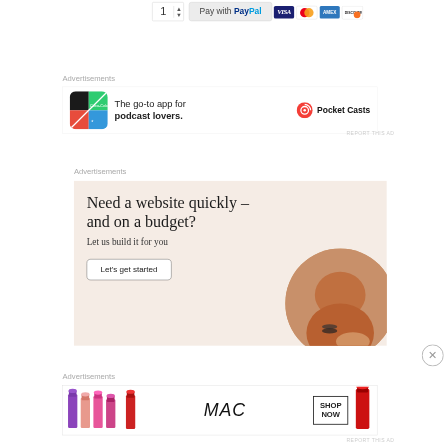[Figure (screenshot): Quantity selector showing '1' with up/down arrows, and a 'Pay with PayPal' button alongside Visa, Mastercard, Amex, and Discover card logo icons]
Advertisements
[Figure (infographic): Advertisement for Pocket Casts app: colorful app icon on left, text 'The go-to app for podcast lovers.' in center, Pocket Casts logo and name on right]
REPORT THIS AD
Advertisements
[Figure (infographic): Advertisement with beige background: headline 'Need a website quickly – and on a budget?', subtext 'Let us build it for you', button 'Let's get started', circular photo of person on right]
Advertisements
[Figure (infographic): MAC cosmetics advertisement showing colorful lipsticks on left, MAC logo script in center, 'SHOP NOW' box on right with a red lipstick on far right]
REPORT THIS AD